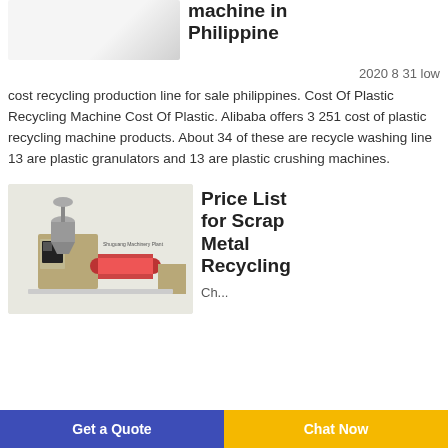[Figure (photo): White plastic recycling machine in Philippines — top portion of product image]
machine in Philippine
2020 8 31 low cost recycling production line for sale philippines. Cost Of Plastic Recycling Machine Cost Of Plastic. Alibaba offers 3 251 cost of plastic recycling machine products. About 34 of these are recycle washing line 13 are plastic granulators and 13 are plastic crushing machines.
[Figure (photo): Industrial scrap metal recycling machine — colorful machinery with conveyor and processing units, Shuguang Machinery Plant branding visible]
Price List for Scrap Metal Recycling
Ch...
Get a Quote    Chat Now